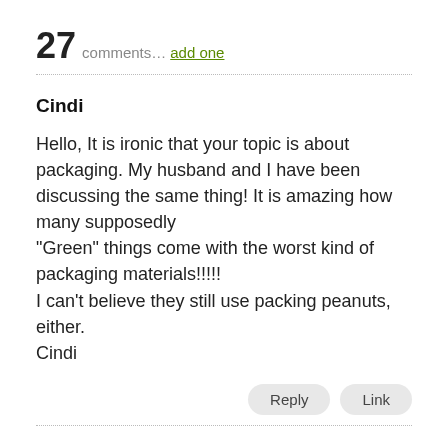27 comments… add one
Cindi
Hello, It is ironic that your topic is about packaging. My husband and I have been discussing the same thing! It is amazing how many supposedly “Green” things come with the worst kind of packaging materials!!!!!
I can't believe they still use packing peanuts, either.
Cindi